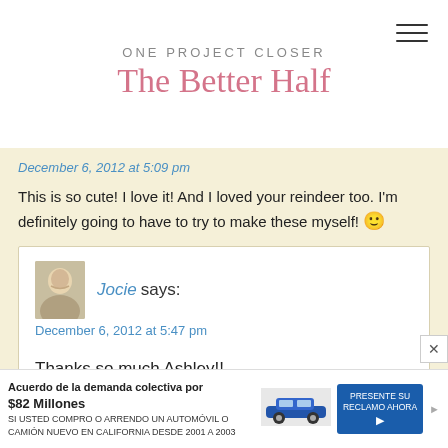ONE PROJECT CLOSER The Better Half
December 6, 2012 at 5:09 pm
This is so cute! I love it! And I loved your reindeer too. I'm definitely going to have to try to make these myself! 🙂
Jocie says:
December 6, 2012 at 5:47 pm
Thanks so much Ashley!!
[Figure (screenshot): Advertisement banner for 'Acuerdo de la demanda colectiva por $82 Millones' - a class action lawsuit settlement for California auto buyers 2001-2003, with a car image and 'PRESENTE SU RECLAMO AHORA' button.]